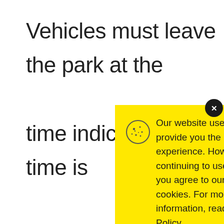Vehicles must leave the park at the time indicated. The time is displayed entrance Lookout, Goodnou throughout hours ar
[Figure (screenshot): Cookie consent popup overlay on a yellow background. Contains cookie icon, message about website cookies policy, a 'Cookie Policy' underlined link, and an 'Accept' button. A dark close button (x) is in the top-right corner.]